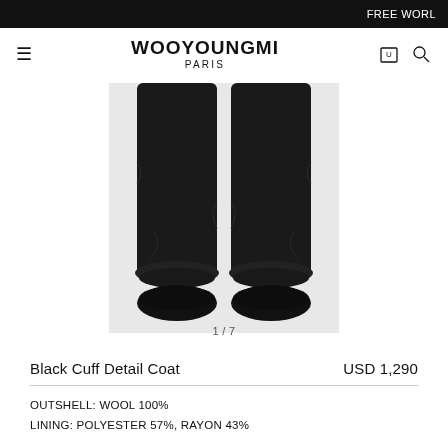FREE WORLD
WOOYOUNGMI
PARIS
[Figure (photo): Close-up photo of model wearing wide-leg black trousers with cuff detail, showing legs from knees down with black chunky shoes, front view.]
1 / 7
Black Cuff Detail Coat
USD 1,290
OUTSHELL: WOOL 100%
LINING: POLYESTER 57%, RAYON 43%

DRY CLEANING ONLY
MADE IN KOREA